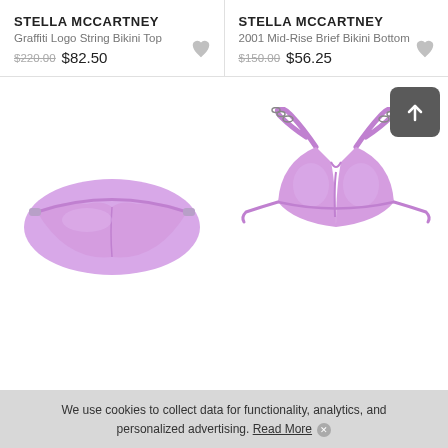STELLA MCCARTNEY
Graffiti Logo String Bikini Top
$220.00 $82.50
STELLA MCCARTNEY
2001 Mid-Rise Brief Bikini Bottom
$150.00 $56.25
[Figure (photo): Lavender bikini bottom (2001 Mid-Rise Brief) on white background]
[Figure (photo): Lavender string bikini top (Graffiti Logo) with chain detail on shoulder straps, on white background]
We use cookies to collect data for functionality, analytics, and personalized advertising. Read More